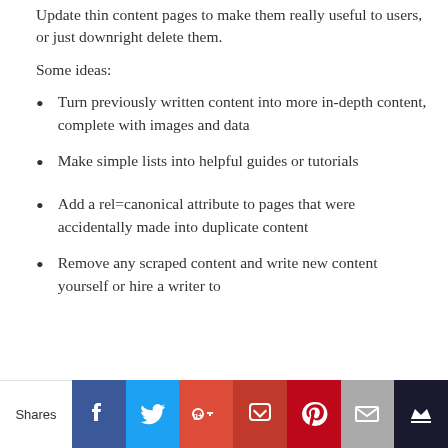Update thin content pages to make them really useful to users, or just downright delete them.
Some ideas:
Turn previously written content into more in-depth content, complete with images and data
Make simple lists into helpful guides or tutorials
Add a rel=canonical attribute to pages that were accidentally made into duplicate content
Remove any scraped content and write new content yourself or hire a writer to
[Figure (infographic): Social sharing bar with Shares label and buttons for Facebook, Twitter, Google+, Pocket, Pinterest, Mail, and Crown icons]